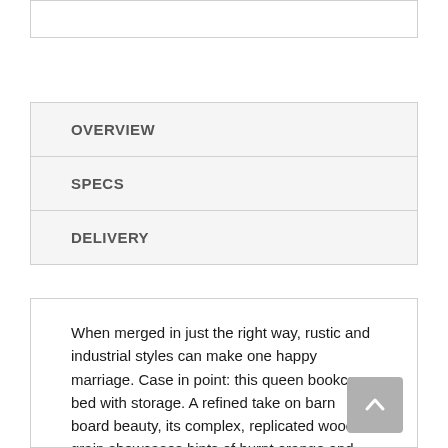[Figure (other): Top image placeholder box with border]
OVERVIEW
SPECS
DELIVERY
When merged in just the right way, rustic and industrial styles can make one happy marriage. Case in point: this queen bookcase bed with storage. A refined take on barn board beauty, its complex, replicated wood grain showcases hints of burnt orange and teal tones for a sense of weatherworn authenticity. Three open cubbies lined with a dimming LED light strip keep bedtime